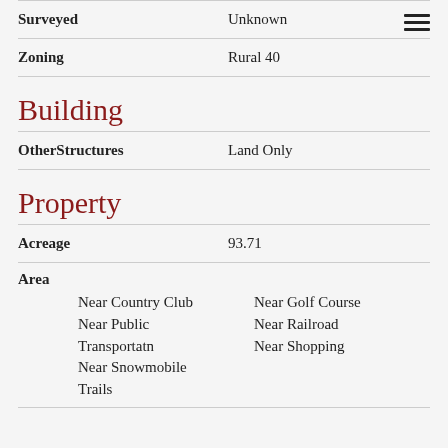| Field | Value |
| --- | --- |
| Surveyed | Unknown |
| Zoning | Rural 40 |
Building
| Field | Value |
| --- | --- |
| OtherStructures | Land Only |
Property
| Field | Value |
| --- | --- |
| Acreage | 93.71 |
Area
Near Country Club
Near Golf Course
Near Public Transportatn
Near Railroad
Near Snowmobile Trails
Near Shopping